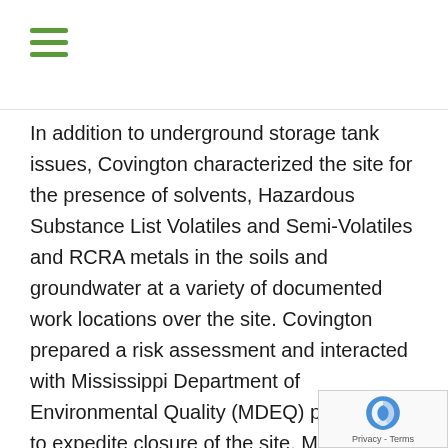In addition to underground storage tank issues, Covington characterized the site for the presence of solvents, Hazardous Substance List Volatiles and Semi-Volatiles and RCRA metals in the soils and groundwater at a variety of documented work locations over the site. Covington prepared a risk assessment and interacted with Mississippi Department of Environmental Quality (MDEQ) personnel to expedite closure of the site. MDEQ agreed with the company's risk assessment raising the site's TPH clean-up criteria to a level 46 times higher than the state's clean-up limits at that ti... This saved the client approximately $1.5 millio...